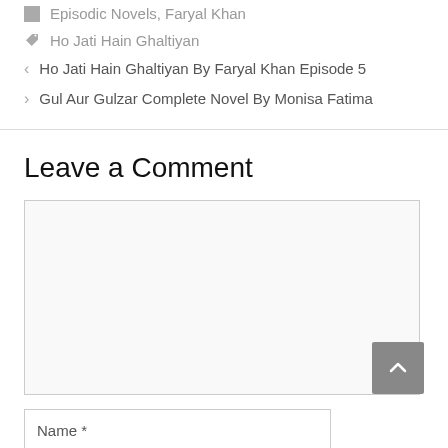Episodic Novels, Faryal Khan
Ho Jati Hain Ghaltiyan
< Ho Jati Hain Ghaltiyan By Faryal Khan Episode 5
> Gul Aur Gulzar Complete Novel By Monisa Fatima
Leave a Comment
Name *